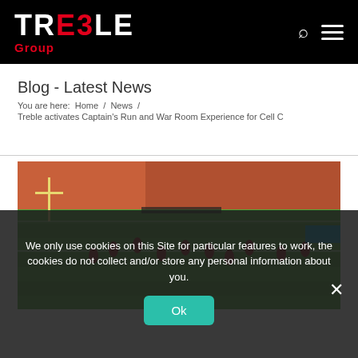[Figure (logo): TRE3LE Group logo in white and red on black background]
Blog - Latest News
You are here:  Home  /  News  /  Treble activates Captain's Run and War Room Experience for Cell C
[Figure (photo): Rugby players practicing on a green field inside a stadium with orange and brown seating]
We only use cookies on this Site for particular features to work, the cookies do not collect and/or store any personal information about you.